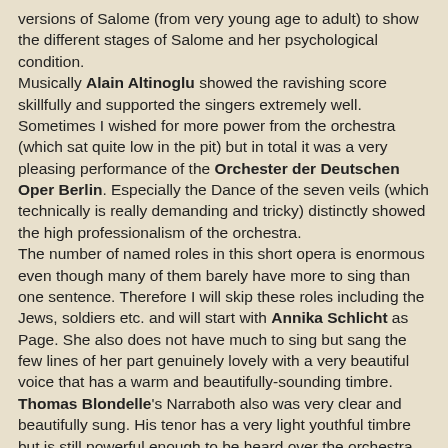versions of Salome (from very young age to adult) to show the different stages of Salome and her psychological condition. Musically Alain Altinoglu showed the ravishing score skillfully and supported the singers extremely well. Sometimes I wished for more power from the orchestra (which sat quite low in the pit) but in total it was a very pleasing performance of the Orchester der Deutschen Oper Berlin. Especially the Dance of the seven veils (which technically is really demanding and tricky) distinctly showed the high professionalism of the orchestra. The number of named roles in this short opera is enormous even though many of them barely have more to sing than one sentence. Therefore I will skip these roles including the Jews, soldiers etc. and will start with Annika Schlicht as Page. She also does not have much to sing but sang the few lines of her part genuinely lovely with a very beautiful voice that has a warm and beautifully-sounding timbre. Thomas Blondelle's Narraboth also was very clear and beautifully sung. His tenor has a very light youthful timbre but is still powerful enough to be heard over the orchestra appropriately.